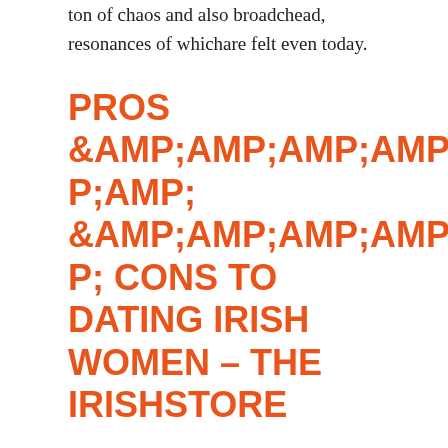ton of chaos and also broadchead, resonances of whichare felt even today.
PROS &AMP;AMP;AMP;AMP;AMP;AMP;AMP; &AMP;AMP;AMP;AMP;AMP;AMP;AMP; CONS TO DATING IRISH WOMEN – THE IRISHSTORE
They take their bromances quite seriously and take pleasure in their male companionships. Blue eyes tall long legs Drive Affection eating in restaurants. House Chores What are these? Be organized a handful of warmed disputes. If you inform an